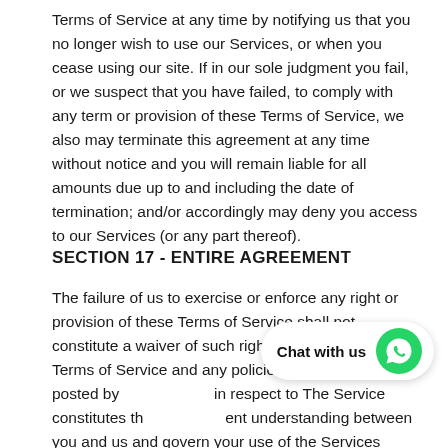Terms of Service at any time by notifying us that you no longer wish to use our Services, or when you cease using our site. If in our sole judgment you fail, or we suspect that you have failed, to comply with any term or provision of these Terms of Service, we also may terminate this agreement at any time without notice and you will remain liable for all amounts due up to and including the date of termination; and/or accordingly may deny you access to our Services (or any part thereof).
SECTION 17 - ENTIRE AGREEMENT
The failure of us to exercise or enforce any right or provision of these Terms of Service shall not constitute a waiver of such right or provision. These Terms of Service and any policies or operating rules posted by us in respect to The Service constitutes the entire agreement understanding between you and us and govern your use of the Services superseding any prior agreements.